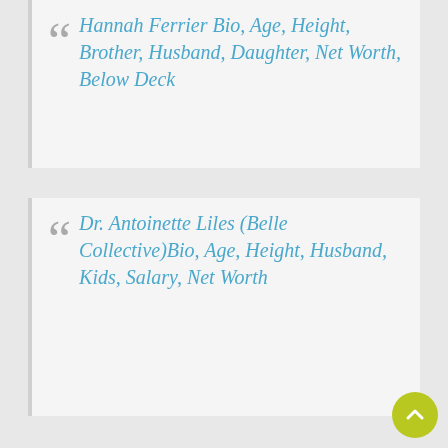Hannah Ferrier Bio, Age, Height, Brother, Husband, Daughter, Net Worth, Below Deck
Dr. Antoinette Liles (Belle Collective)Bio, Age, Height, Husband, Kids, Salary, Net Worth